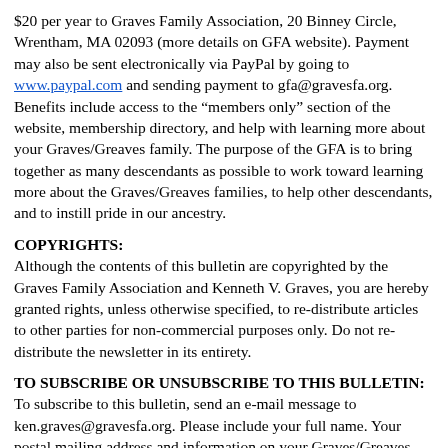$20 per year to Graves Family Association, 20 Binney Circle, Wrentham, MA 02093 (more details on GFA website).  Payment may also be sent electronically via PayPal by going to www.paypal.com and sending payment to gfa@gravesfa.org.  Benefits include access to the “members only” section of the website, membership directory, and help with learning more about your Graves/Greaves family.  The purpose of the GFA is to bring together as many descendants as possible to work toward learning more about the Graves/Greaves families, to help other descendants, and to instill pride in our ancestry.
COPYRIGHTS:
Although the contents of this bulletin are copyrighted by the Graves Family Association and Kenneth V. Graves, you are hereby granted rights, unless otherwise specified, to re-distribute articles to other parties for non-commercial purposes only.  Do not re-distribute the newsletter in its entirety.
TO SUBSCRIBE OR UNSUBSCRIBE TO THIS BULLETIN:
To subscribe to this bulletin, send an e-mail message to ken.graves@gravesfa.org.  Please include your full name.  Your postal mailing address and information on your Graves/Greaves ancestry would also be appreciated, although not essential.
To remove your name from this subscription list, send an e-mail